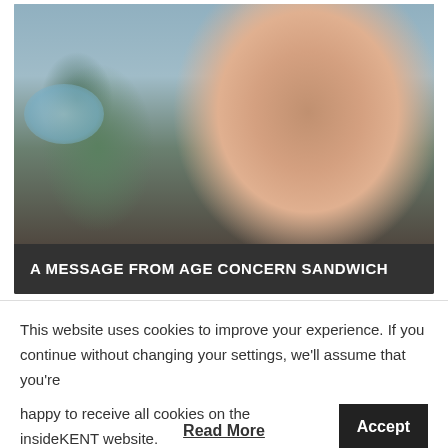[Figure (photo): Photo of an elderly woman with white hair and glasses smiling while looking at a tablet device, with a younger woman wearing a blue face mask and yellow lanyard visible behind her.]
A MESSAGE FROM AGE CONCERN SANDWICH
This website uses cookies to improve your experience. If you continue without changing your settings, we'll assume that you're happy to receive all cookies on the insideKENT website.
Read More